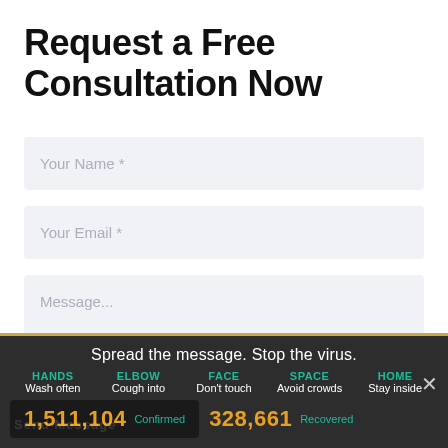Request a Free Consultation Now
Your Name *
Your Email *
Message...
Spread the message. Stop the virus.
HANDS Wash often  ELBOW Cough into  FACE Don't touch  SPACE Avoid crowds  HOME Stay inside
1,511,104 Confirmed  328,661 Recovered